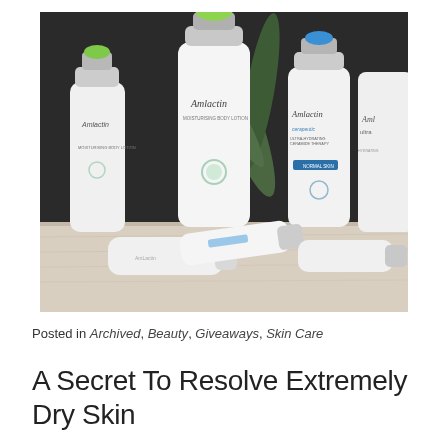[Figure (photo): A product photo of multiple AmLactin skincare bottles and tubes arranged on a light wooden surface against a dark background with green plant leaves. Products include AmLactin Moisturizing Body Lotion bottles with pump dispensers (green and blue caps), an AmLactin Cerapeutic bottle, an AmLactin Ultra container, and smaller tube products lying flat in the foreground.]
Posted in Archived, Beauty, Giveaways, Skin Care
A Secret To Resolve Extremely Dry Skin